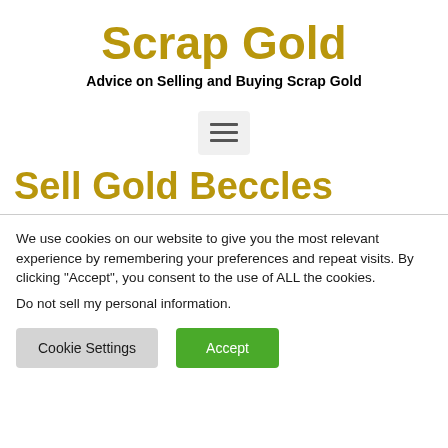Scrap Gold
Advice on Selling and Buying Scrap Gold
[Figure (illustration): Hamburger menu icon — three horizontal lines in a light gray rounded rectangle]
Sell Gold Beccles
We use cookies on our website to give you the most relevant experience by remembering your preferences and repeat visits. By clicking “Accept”, you consent to the use of ALL the cookies.
Do not sell my personal information.
Cookie Settings   Accept